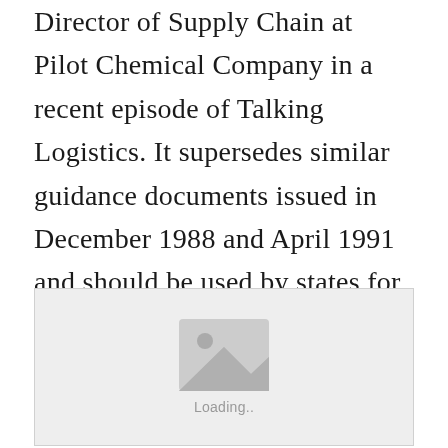Director of Supply Chain at Pilot Chemical Company in a recent episode of Talking Logistics. It supersedes similar guidance documents issued in December 1988 and April 1991 and should be used by states for the 1993 capacity assurance planning process.
[Figure (photo): Image loading placeholder with a mountain/landscape icon and 'Loading..' text on a light grey background]